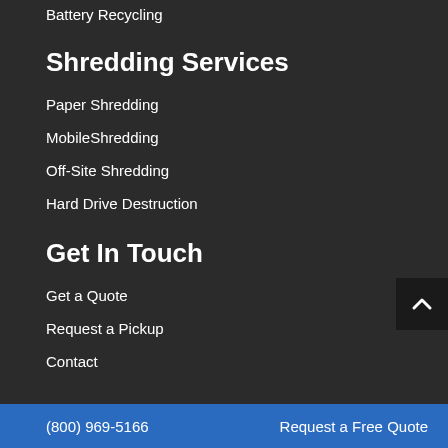Battery Recycling
Shredding Services
Paper Shredding
MobileShredding
Off-Site Shredding
Hard Drive Destruction
Get In Touch
Get a Quote
Request a Pickup
Contact
(800) 969-5166    Request a Free Quote